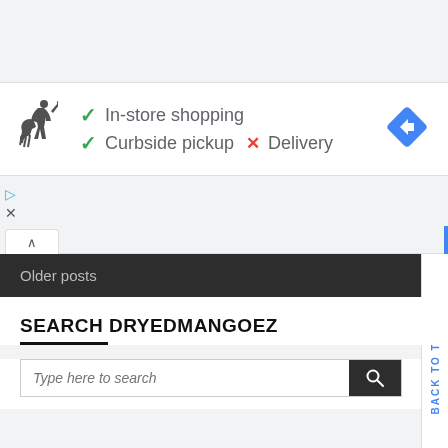[Figure (infographic): Store info card with Polo Ralph Lauren logo, showing service icons: green checkmarks for In-store shopping and Curbside pickup, red X for Delivery, and a blue navigation diamond icon on the right.]
In-store shopping
Curbside pickup  ✗  Delivery
Older posts
SEARCH DRYEDMANGOEZ
Type here to search